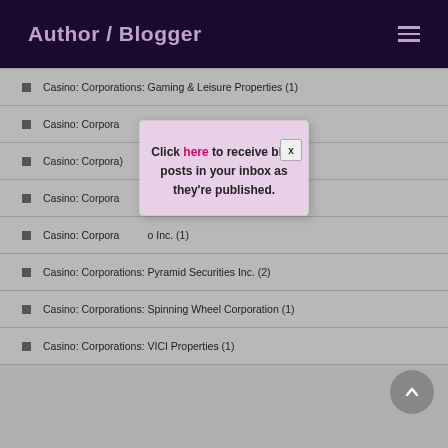Author / Blogger
Casino: Corporations: Gaming & Leisure Properties (1)
Casino: Corporations: [partially obscured] ment Inc. (1)
Casino: Corporations: [partially obscured] (1)
Casino: Corporations: [partially obscured] ment Co. (1)
Casino: Corporations: [partially obscured] Inc. (1)
Casino: Corporations: Pyramid Securities Inc. (2)
Casino: Corporations: Spinning Wheel Corporation (1)
Casino: Corporations: VICI Properties (1)
Click here to receive blog posts in your inbox as they're published.